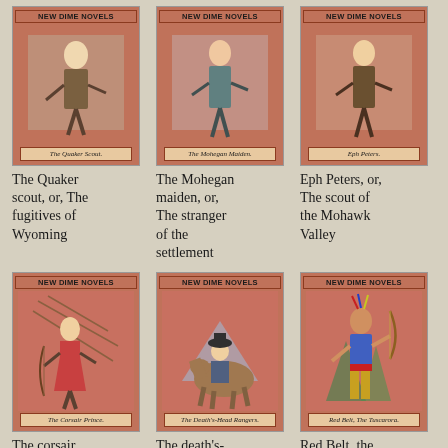[Figure (illustration): New Dime Novels book cover - The Quaker Scout]
The Quaker scout, or, The fugitives of Wyoming
[Figure (illustration): New Dime Novels book cover - The Mohegan Maiden]
The Mohegan maiden, or, The stranger of the settlement
[Figure (illustration): New Dime Novels book cover - Eph Peters]
Eph Peters, or, The scout of the Mohawk Valley
[Figure (illustration): New Dime Novels book cover - The Corsair Prince, man with ship rigging]
The corsair prince
[Figure (illustration): New Dime Novels book cover - The Death's-Head Rangers, rider on horseback]
The death's-head rangers
[Figure (illustration): New Dime Novels book cover - Red Belt, The Tuscarora, Native American figure]
Red Belt, the Tuscarora, or, The death trail
[Figure (illustration): New Dime Novels book cover - partially visible bottom row left]
[Figure (illustration): New Dime Novels book cover - partially visible bottom row center]
[Figure (illustration): New Dime Novels book cover - partially visible bottom row right]